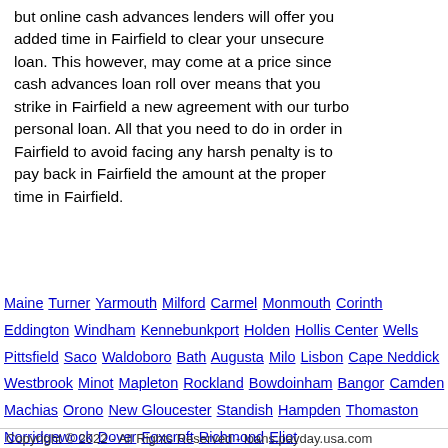but online cash advances lenders will offer you added time in Fairfield to clear your unsecure loan. This however, may come at a price since cash advances loan roll over means that you strike in Fairfield a new agreement with our turbo personal loan. All that you need to do in order in Fairfield to avoid facing any harsh penalty is to pay back in Fairfield the amount at the proper time in Fairfield.
Maine Turner Yarmouth Milford Carmel Monmouth Corinth Eddington Windham Kennebunkport Holden Hollis Center Wells Pittsfield Saco Waldoboro Bath Augusta Milo Lisbon Cape Neddick Westbrook Minot Mapleton Rockland Bowdoinham Bangor Camden Machias Orono New Gloucester Standish Hampden Thomaston Norridgewock Dover Foxcroft Richmond Eliot
Copyright © 2022 - All Rights Reserved - loans.payday.usa.com